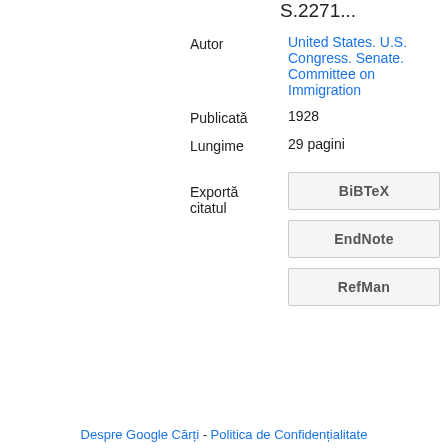S.2271...
Autor
United States. U.S. Congress. Senate. Committee on Immigration
Publicată    1928
Lungime    29 pagini
Exportă citatul
BiBTeX
EndNote
RefMan
Despre Google Cărți - Politica de Confidențialitate